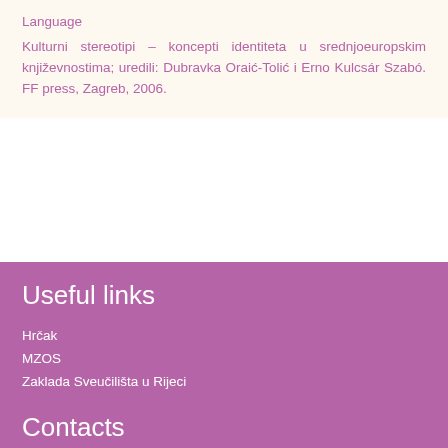Language
Kulturni stereotipi – koncepti identiteta u srednjoeuropskim književnostima; uredili: Dubravka Oraić-Tolić i Erno Kulcsár Szabó. FF press, Zagreb, 2006.
Useful links
Hrčak
MZOS
Zaklada Sveučilišta u Rijeci
Contacts
University of Rijeka, Faculty of Humanities and Social Sciences
Department of Croatian Language and Literature
Sveucilisna avenija 4, HR-51000 Rijeka
Tel. ++385 51 265 675; ++385 99 267 4305
Tel. ++385 51 265 703; ++385 91 56 60 427
Tel. ++385 51 265 683; ++385 91 73 33 844